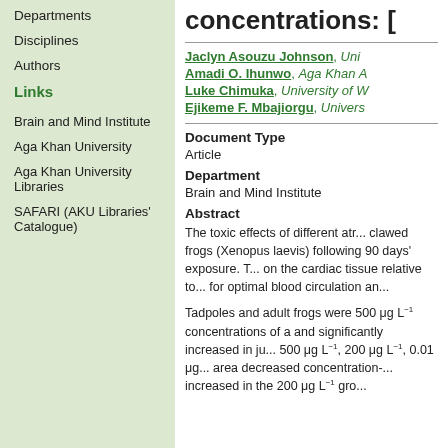Departments
Disciplines
Authors
Links
Brain and Mind Institute
Aga Khan University
Aga Khan University Libraries
SAFARI (AKU Libraries' Catalogue)
concentrations: [partial title]
Jaclyn Asouzu Johnson, Uni...
Amadi O. Ihunwo, Aga Khan ...
Luke Chimuka, University of W...
Ejikeme F. Mbajiorgu, Univers...
Document Type
Article
Department
Brain and Mind Institute
Abstract
The toxic effects of different atr... clawed frogs (Xenopus laevis) following 90 days' exposure. T... on the cardiac tissue relative to... for optimal blood circulation an...

Tadpoles and adult frogs were 500 μg L⁻¹ concentrations of a and significantly increased in ju... 500 μg L⁻¹, 200 μg L⁻¹, 0.01 μg... area decreased concentration-... increased in the 200 μg L⁻¹ gro...